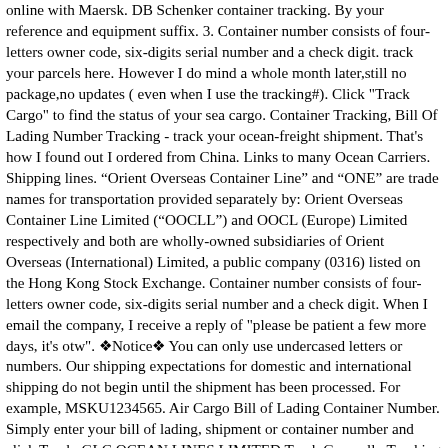online with Maersk. DB Schenker container tracking. By your reference and equipment suffix. 3. Container number consists of four-letters owner code, six-digits serial number and a check digit. track your parcels here. However I do mind a whole month later,still no package,no updates ( even when I use the tracking#). Click "Track Cargo" to find the status of your sea cargo. Container Tracking, Bill Of Lading Number Tracking - track your ocean-freight shipment. That's how I found out I ordered from China. Links to many Ocean Carriers. Shipping lines. “Orient Overseas Container Line” and “ONE” are trade names for transportation provided separately by: Orient Overseas Container Line Limited (“OOCLL”) and OOCL (Europe) Limited respectively and both are wholly-owned subsidiaries of Orient Overseas (International) Limited, a public company (0316) listed on the Hong Kong Stock Exchange. Container number consists of four-letters owner code, six-digits serial number and a check digit. When I email the company, I receive a reply of "please be patient a few more days, it's otw". ❖Notice❖ You can only use undercased letters or numbers. Our shipping expectations for domestic and international shipping do not begin until the shipment has been processed. For example, MSKU1234565. Air Cargo Bill of Lading Container Number. Simply enter your bill of lading, shipment or container number and click Track. GLC OCEAN LINES LIMITED Track Generally Tracking number consists total of 11 Digits ( Prefix 4 letters and 7 Numbers ). Ocean & Co is an eco-friendly beach brand with a mission to rid our oceans of plastic pollution. Pelorus Ocean Line Ltd Customer Support:-Email: jorge.rivero@pelorusoceanline.com Contact Phone Number: +1 704 423 9307 Headquarters Address: 10450 Doral Boulevard, Suite 200, Miami Florida 33178, USA About Pelorus Ocean Line Container...